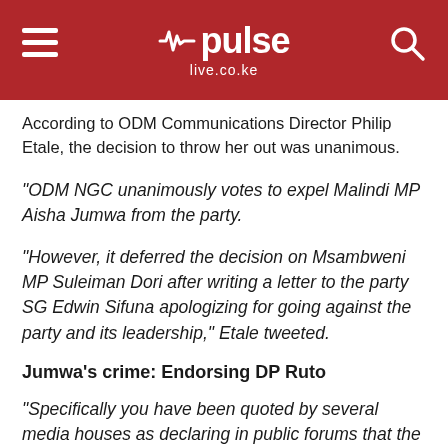pulse live.co.ke
According to ODM Communications Director Philip Etale, the decision to throw her out was unanimous.
"ODM NGC unanimously votes to expel Malindi MP Aisha Jumwa from the party.
"However, it deferred the decision on Msambweni MP Suleiman Dori after writing a letter to the party SG Edwin Sifuna apologizing for going against the party and its leadership," Etale tweeted.
Jumwa's crime: Endorsing DP Ruto
"Specifically you have been quoted by several media houses as declaring in public forums that the 'coastal